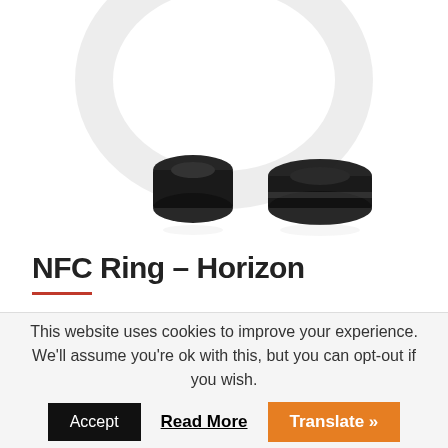[Figure (photo): Two black NFC rings shown on a white background — one viewed at angle showing band shape, one viewed from top/side. A faint large white/silver ring is visible in the upper background.]
NFC Ring – Horizon
This website uses cookies to improve your experience. We'll assume you're ok with this, but you can opt-out if you wish.